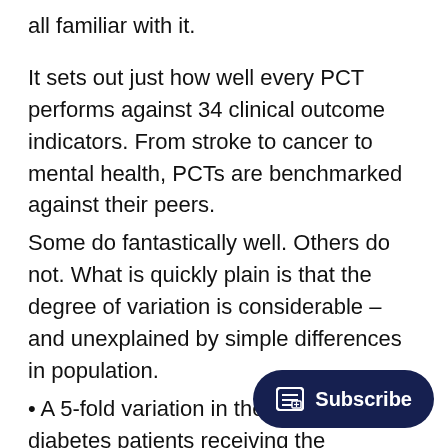all familiar with it.
It sets out just how well every PCT performs against 34 clinical outcome indicators.  From stroke to cancer to mental health, PCTs are benchmarked against their peers.
Some do fantastically well.  Others do not.  What is quickly plain is that the degree of variation is considerable – and unexplained by simple differences in population.
A 5-fold variation in the proportion of diabetes patients receiving the recommended level of care;
A 4-fold variation in emergency admissions for under-18s due to asthma;
A 4-fold variation in the number of bed-days for patients with the respiratory disease, COPD